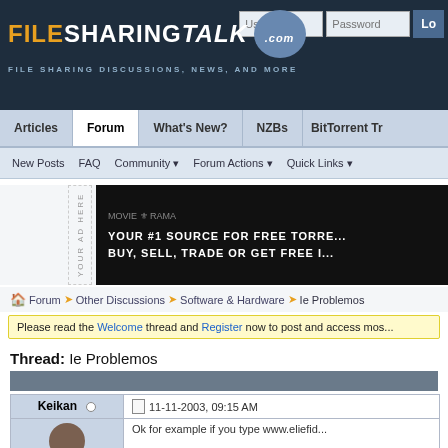FILESHARINGTALK.com - FILE SHARING DISCUSSIONS, NEWS, AND MORE
[Figure (screenshot): FileSharingTalk.com forum navigation bar with Articles, Forum, What's New?, NZBs, BitTorrent Tr... tabs]
[Figure (screenshot): Advertisement banner: YOUR AD HERE sidebar text with dark banner showing MOVIE RAMA logo and text YOUR #1 SOURCE FOR FREE TORRE... BUY, SELL, TRADE OR GET FREE...]
Forum > Other Discussions > Software & Hardware > Ie Problemos
Please read the Welcome thread and Register now to post and access mos...
Thread: Ie Problemos
| User | Status | Date/Time |
| --- | --- | --- |
| Keikan |  | 11-11-2003, 09:15 AM |
|  |  | Ok for example if you type www.eliefid... |
Ok for example if you type www.eliefid...